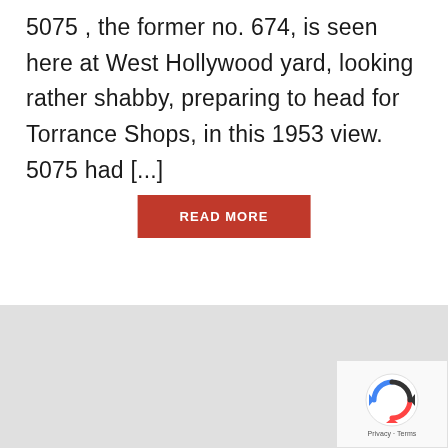5075 , the former no. 674, is seen here at West Hollywood yard, looking rather shabby, preparing to head for Torrance Shops, in this 1953 view. 5075 had [...]
READ MORE
[Figure (screenshot): Google map embed showing a light grey map area with a scroll-to-top button (grey box with white chevron up arrow) and a reCAPTCHA widget in the bottom-right corner showing the reCAPTCHA logo and 'Privacy - Terms' text.]